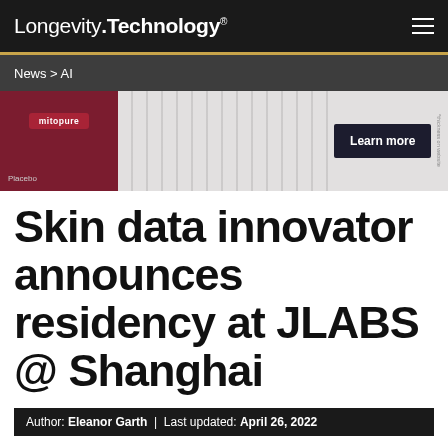Longevity.Technology®
News > AI
[Figure (photo): Advertisement banner for Mitopure showing a bar comparison chart with Mitopure and Placebo labels, and a 'Learn more' button on the right side.]
Skin data innovator announces residency at JLABS @ Shanghai
Author: Eleanor Garth | Last updated: April 26, 2022